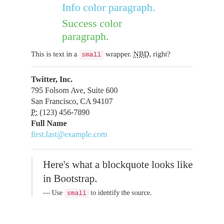Info color paragraph.
Success color paragraph.
This is text in a small wrapper. NBD, right?
Twitter, Inc.
795 Folsom Ave, Suite 600
San Francisco, CA 94107
P: (123) 456-7890
Full Name
first.last@example.com
Here's what a blockquote looks like in Bootstrap.
— Use small to identify the source.